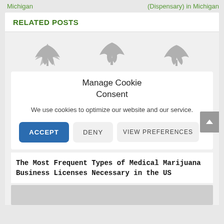Michigan    (Dispensary) in Michigan
RELATED POSTS
[Figure (illustration): Three grey cannabis leaf/plant icons arranged in a row]
Manage Cookie Consent
We use cookies to optimize our website and our service.
ACCEPT   DENY   VIEW PREFERENCES
The Most Frequent Types of Medical Marijuana Business Licenses Necessary in the US
[Figure (photo): Grey placeholder image area at bottom]